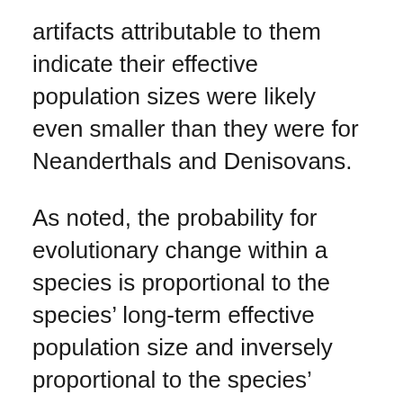artifacts attributable to them indicate their effective population sizes were likely even smaller than they were for Neanderthals and Denisovans.
As noted, the probability for evolutionary change within a species is proportional to the species' long-term effective population size and inversely proportional to the species' average adult body mass and average generation time. With long-term effective population sizes less than 10,000, with body sizes in the tens of kilograms, and with generation times of several years, there is no natural possibility for premodern human or hominid species to experience any significant change (evolution) in their morphologies or